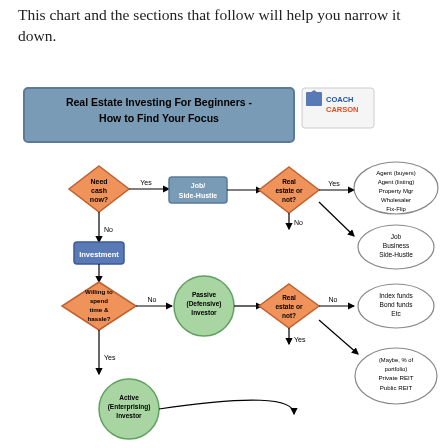This chart and the sections that follow will help you narrow it down.
[Figure (flowchart): Real Estate Investing For Beginners - How to Find Your Focus. Flowchart starting with 'Need cash now?' diamond. Yes leads to 'Job/Side-Hustle' box, then 'Real estate or not?' diamond: Yes leads to oval listing Agent(buyers), Agent(listing), Property Mgr, Wholesaler, Fix-Flip; No leads to oval listing Job, Business, Side-Hustle. No from 'Need cash now?' leads to 'Investment' box, then 'Willing to spend time & hassle?' diamond. No leads to 'Passive (Defensive) Investor' circle, then 'Real estate or not?' diamond: No leads to oval Index funds, Bond funds, Etc; Yes leads to oval (Maybe, % of portfolio) Private REIT, Public REIT. Yes from willing leads to 'Active (Enterprising) Investor' circle. Coach Carson logo top right.]